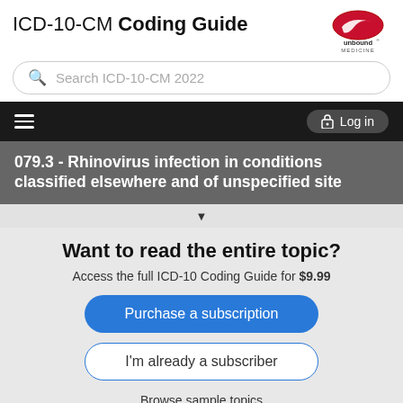ICD-10-CM Coding Guide
[Figure (logo): Unbound Medicine logo — red oval with white swoosh, text 'unbound MEDICINE']
Search ICD-10-CM 2022
Log in
079.3 - Rhinovirus infection in conditions classified elsewhere and of unspecified site
Want to read the entire topic?
Access the full ICD-10 Coding Guide for $9.99
Purchase a subscription
I'm already a subscriber
Browse sample topics